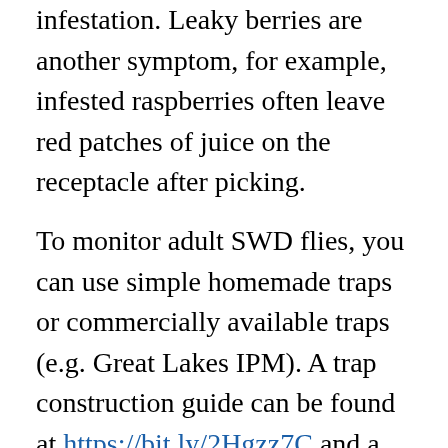infestation. Leaky berries are another symptom, for example, infested raspberries often leave red patches of juice on the receptacle after picking.
To monitor adult SWD flies, you can use simple homemade traps or commercially available traps (e.g. Great Lakes IPM). A trap construction guide can be found at https://bit.ly/2Hgzz7C and a short video showing how to make this trap can be viewed at https://bit.ly/2qPBPrr. The traps must be baited to attract SWD. Homemade yeast-sugar based lures perform just as well as the commercially available Scentry lures. The yeast-sugar bait can be made by mixing 1 tablespoon of active dry yeast, 4 tablespoons sugar, and 1.5 cups of water. Alternatively, you can use a commercially available lure. The Scentry lure (Scentry Biologicals, Inc.) is a gel sachet that has catch rates